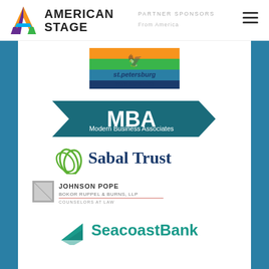[Figure (logo): American Stage logo with colorful A symbol and text]
[Figure (logo): City of St. Petersburg logo with colorful stripes and bird, st.petersburg www.stpete.org]
[Figure (logo): MBA Modern Business Associates logo, dark teal parallelogram shape with white text]
[Figure (logo): Sabal Trust logo with green leaf/frond icon and dark blue text]
[Figure (logo): Johnson Pope Bokor Ruppel & Burns, LLP Counselors at Law logo with gray square icon]
[Figure (logo): SeacoastBank logo with teal sailboat icon and teal text]